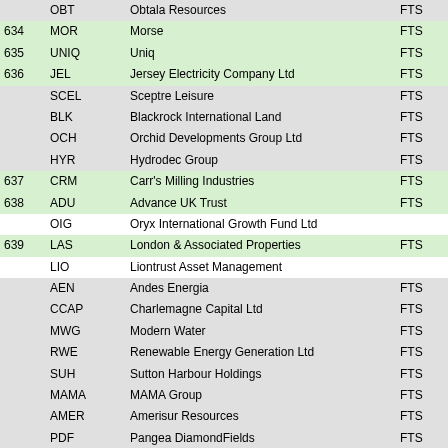|  | OBT | Obtala Resources | FTS |
| --- | --- | --- | --- |
|  | OBT | Obtala Resources | FTS |
| 634 | MOR | Morse | FTS |
| 635 | UNIQ | Uniq | FTS |
| 636 | JEL | Jersey Electricity Company Ltd | FTS |
|  | SCEL | Sceptre Leisure | FTS |
|  | BLK | Blackrock International Land | FTS |
|  | OCH | Orchid Developments Group Ltd | FTS |
|  | HYR | Hydrodec Group | FTS |
| 637 | CRM | Carr's Milling Industries | FTS |
| 638 | ADU | Advance UK Trust | FTS |
|  | OIG | Oryx International Growth Fund Ltd |  |
| 639 | LAS | London & Associated Properties | FTS |
|  | LIO | Liontrust Asset Management |  |
|  | AEN | Andes Energia | FTS |
|  | CCAP | Charlemagne Capital Ltd | FTS |
|  | MWG | Modern Water | FTS |
|  | RWE | Renewable Energy Generation Ltd | FTS |
|  | SUH | Sutton Harbour Holdings | FTS |
|  | MAMA | MAMA Group | FTS |
|  | AMER | Amerisur Resources | FTS |
|  | PDF | Pangea DiamondFields | FTS |
|  | IBB | Islamic Bank of Britain | FTS |
|  | JRIC | Japan Residential Investment Company Ltd | FTS |
|  | ASH | Ashley House | FTS |
|  | DQE | DQ Entertainment | FTS |
| 640 | VLK | Vislink | FTS |
|  | PSPI | Public Service Properties Investments Ltd | FTS |
|  | VIY | ViaLogy | FTS |